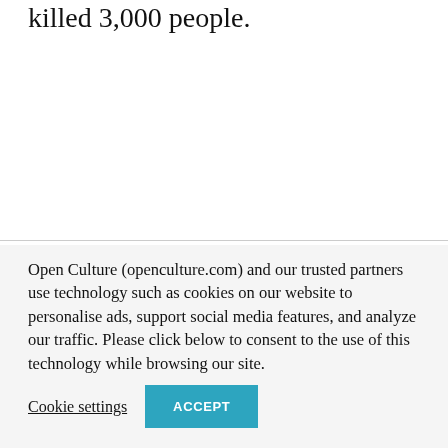killed 3,000 people.
Open Culture (openculture.com) and our trusted partners use technology such as cookies on our website to personalise ads, support social media features, and analyze our traffic. Please click below to consent to the use of this technology while browsing our site.
Cookie settings
ACCEPT